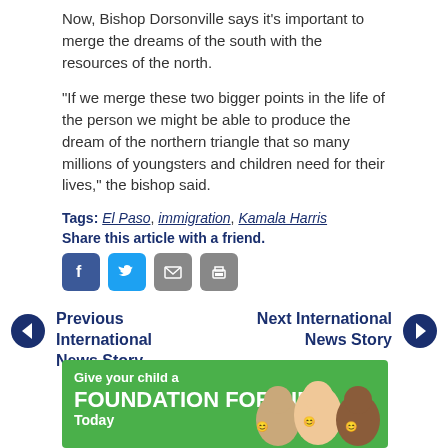Now, Bishop Dorsonville says it's important to merge the dreams of the south with the resources of the north.
“If we merge these two bigger points in the life of the person we might be able to produce the dream of the northern triangle that so many millions of youngsters and children need for their lives,” the bishop said.
Tags: El Paso, immigration, Kamala Harris
Share this article with a friend.
[Figure (other): Social share icons: Facebook, Twitter, Email, Print]
Previous International News Story
Next International News Story
[Figure (other): Advertisement banner: Give your child a FOUNDATION FOR LIFE Today, with children photos on green background]